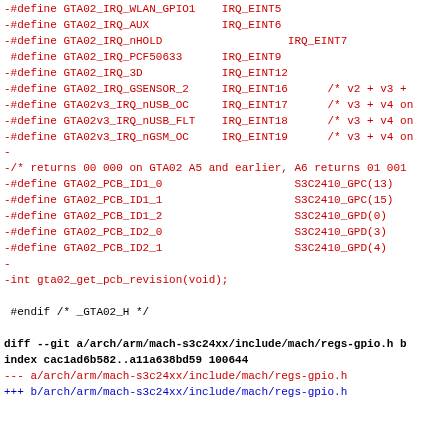Code diff showing GTA02 IRQ definitions and PCB ID defines, plus a git diff header for regs-gpio.h
-#define GTA02_IRQ_WLAN_GPIO1  IRQ_EINT5
-#define GTA02_IRQ_AUX        IRQ_EINT6
-#define GTA02_IRQ_nHOLD                    IRQ_EINT7
 #define GTA02_IRQ_PCF50633   IRQ_EINT9
-#define GTA02_IRQ_3D         IRQ_EINT12
-#define GTA02_IRQ_GSENSOR_2  IRQ_EINT16     /* v2 + v3 +
-#define GTA02v3_IRQ_nUSB_OC  IRQ_EINT17     /* v3 + v4 on
-#define GTA02v3_IRQ_nUSB_FLT IRQ_EINT18     /* v3 + v4 on
-#define GTA02v3_IRQ_nGSM_OC  IRQ_EINT19     /* v3 + v4 on
-
-/* returns 00 000 on GTA02 A5 and earlier, A6 returns 01 001
-#define GTA02_PCB_ID1_0                    S3C2410_GPC(13)
-#define GTA02_PCB_ID1_1                    S3C2410_GPC(15)
-#define GTA02_PCB_ID1_2                    S3C2410_GPD(0)
-#define GTA02_PCB_ID2_0                    S3C2410_GPD(3)
-#define GTA02_PCB_ID2_1                    S3C2410_GPD(4)
-
-int gta02_get_pcb_revision(void);

 #endif /* _GTA02_H */
diff --git a/arch/arm/mach-s3c24xx/include/mach/regs-gpio.h b
index cac1ad6b582..a11a638bd59 100644
--- a/arch/arm/mach-s3c24xx/include/mach/regs-gpio.h
+++ b/arch/arm/mach-s3c24xx/include/mach/regs-gpio.h